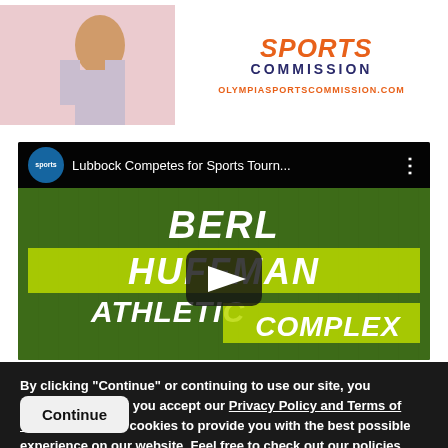[Figure (logo): Olympia Sports Commission logo banner with photo of athlete on left and orange/navy text on right reading 'SPORTS COMMISSION' and website 'OLYMPIASPORTSCOMMISSION.COM']
[Figure (screenshot): YouTube-style embedded video player showing 'Lubbock Competes for Sports Tourn...' with channel icon, title bar, and video thumbnail showing Berl Huffman Athletic Complex text on grass background with play button]
By clicking "Continue" or continuing to use our site, you acknowledge that you accept our Privacy Policy and Terms of Use. We also use cookies to provide you with the best possible experience on our website. Feel free to check out our policies anytime for more information.